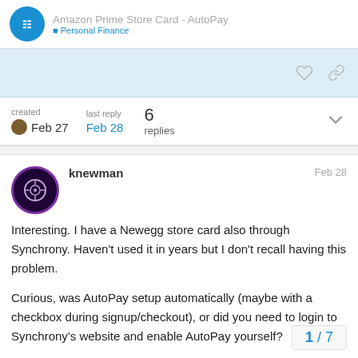Amazon Prime Store Card - AutoPay
created Feb 27   last reply Feb 28   6 replies
knewman   Feb 28
Interesting. I have a Newegg store card also through Synchrony. Haven't used it in years but I don't recall having this problem.

Curious, was AutoPay setup automatically (maybe with a checkbox during signup/checkout), or did you need to login to Synchrony's website and enable AutoPay yourself?
1 / 7